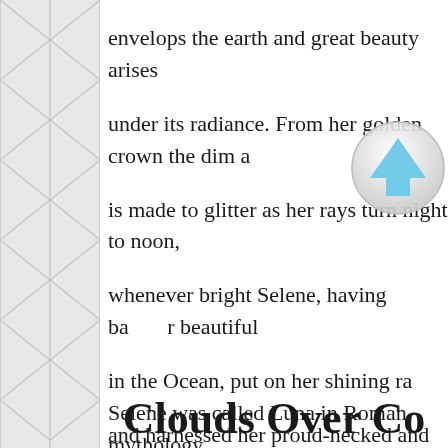envelops the earth and great beauty arises under its radiance. From her golden crown the dim a is made to glitter as her rays turn night to noon, whenever bright Selene, having ba r beautiful in the Ocean, put on her shining ra and harnessed her proud-necked and glittering steeds swiftly drives them on as their manes play with the evening, dividing the months. Her great orbit is full and as she waxes a most brilliant light appears in the sky. Thus to mortals she is a sign and a token."
Selene was called Luna in Roman mythology.
Clouds Over Co